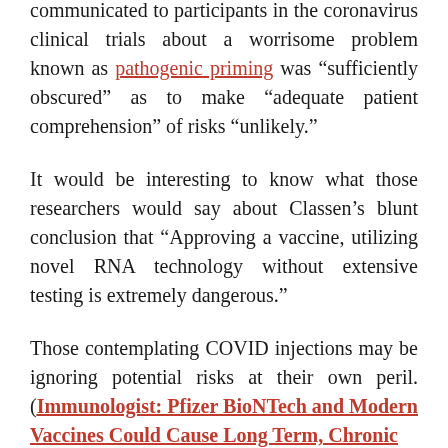communicated to participants in the coronavirus clinical trials about a worrisome problem known as pathogenic priming was “sufficiently obscured” as to make “adequate patient comprehension” of risks “unlikely.”
It would be interesting to know what those researchers would say about Classen’s blunt conclusion that “Approving a vaccine, utilizing novel RNA technology without extensive testing is extremely dangerous.”
Those contemplating COVID injections may be ignoring potential risks at their own peril. (Immunologist: Pfizer BioNTech and Modern Vaccines Could Cause Long Term, Chronic